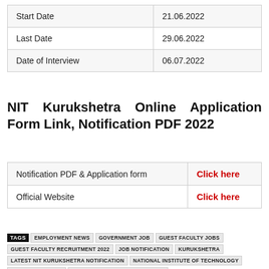| Start Date | 21.06.2022 |
| Last Date | 29.06.2022 |
| Date of Interview | 06.07.2022 |
NIT Kurukshetra Online Application Form Link, Notification PDF 2022
| Notification PDF & Application form | Click here |
| Official Website | Click here |
TAGS · EMPLOYMENT NEWS · GOVERNMENT JOB · GUEST FACULTY JOBS · GUEST FACULTY RECRUITMENT 2022 · JOB NOTIFICATION · KURUKSHETRA · LATEST NIT KURUKSHETRA NOTIFICATION · NATIONAL INSTITUTE OF TECHNOLOGY · NIT KURUKSHETRA · NIT KURUKSHETRA CAREERS 2022 · NIT KURUKSHETRA JOB APPLICATION 2022 · NIT KURUKSHETRA JOB NOTIFICATION